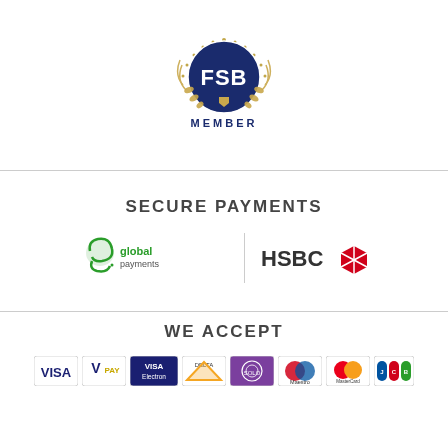[Figure (logo): FSB (Federation of Small Businesses) Member logo — circular dark blue badge with gold laurel wreath and 'FSB' text, with 'MEMBER' in bold dark blue below]
SECURE PAYMENTS
[Figure (logo): Global Payments and HSBC logos side by side, separated by a vertical line]
WE ACCEPT
[Figure (other): Row of payment card logos: VISA, V PAY, VISA Electron, Delta, Solo, Maestro, MasterCard, JCB]